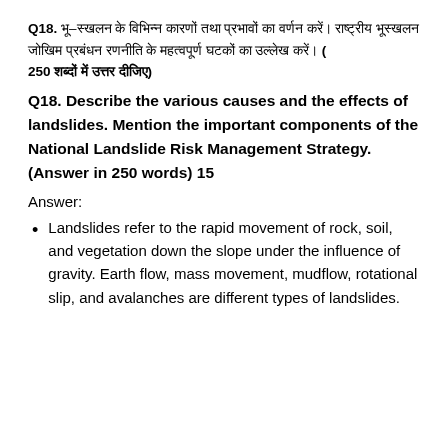Q18. [Hindi text] – [Hindi text describing question about landslides and National Landslide Risk Management Strategy] – (250 words limit answer)
Q18. Describe the various causes and the effects of landslides. Mention the important components of the National Landslide Risk Management Strategy. (Answer in 250 words) 15
Answer:
Landslides refer to the rapid movement of rock, soil, and vegetation down the slope under the influence of gravity. Earth flow, mass movement, mudflow, rotational slip, and avalanches are different types of landslides.